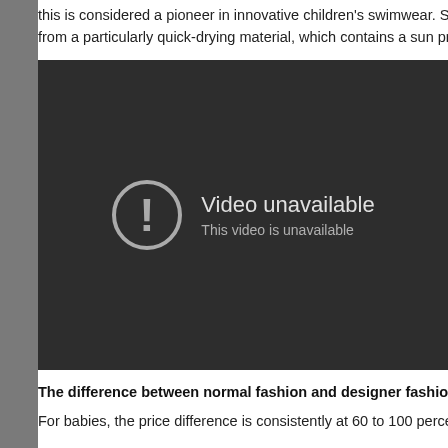this is considered a pioneer in innovative children's swimwear. So y from a particularly quick-drying material, which contains a sun proto
[Figure (screenshot): A dark video player showing 'Video unavailable' message with an exclamation mark icon and text 'This video is unavailable']
The difference between normal fashion and designer fashion
For babies, the price difference is consistently at 60 to 100 percent